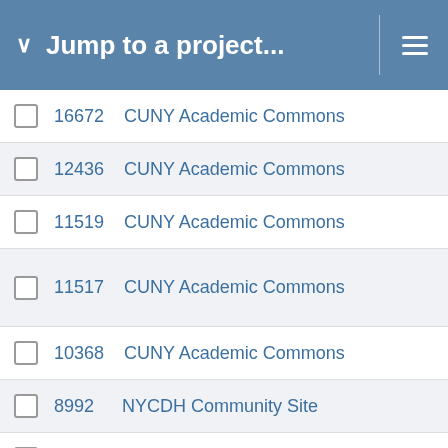Jump to a project...
16672   CUNY Academic Commons
12436   CUNY Academic Commons
11519   CUNY Academic Commons
11517   CUNY Academic Commons
10368   CUNY Academic Commons
8992   NYCDH Community Site
8837   CUNY Academic Commons